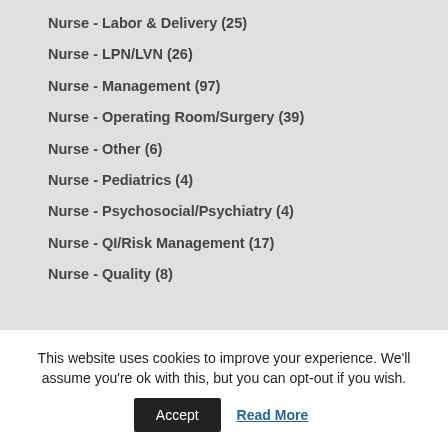Nurse - Labor & Delivery (25)
Nurse - LPN/LVN (26)
Nurse - Management (97)
Nurse - Operating Room/Surgery (39)
Nurse - Other (6)
Nurse - Pediatrics (4)
Nurse - Psychosocial/Psychiatry (4)
Nurse - QI/Risk Management (17)
Nurse - Quality (8)
This website uses cookies to improve your experience. We'll assume you're ok with this, but you can opt-out if you wish.
Accept
Read More